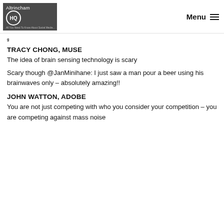Altrincham HQ – All You Need To Know About Social Media... | Menu
TRACY CHONG, MUSE
The idea of brain sensing technology is scary
Scary though @JanMinihane: I just saw a man pour a beer using his brainwaves only – absolutely amazing!!
JOHN WATTON, ADOBE
You are not just competing with who you consider your competition – you are competing against mass noise